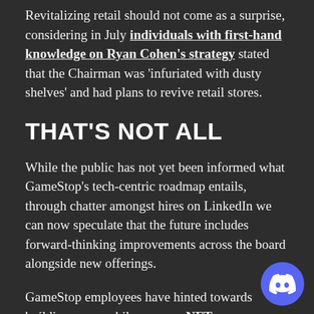Revitalizing retail should not come as a surprise, considering in July individuals with first-hand knowledge on Ryan Cohen's strategy stated that the Chairman was 'infuriated with dusty shelves' and had plans to revive retail stores.
THAT'S NOT ALL
While the public has not yet been informed what GameStop's tech-centric roadmap entails, through chatter amongst hires on LinkedIn we can now speculate that the future includes forward-thinking improvements across the board alongside new offerings.
GameStop employees have hinted towards building new mobile apps, an NFT marketplace, a new customer service team, the evolution of the PowerUp Rewards program, new private label